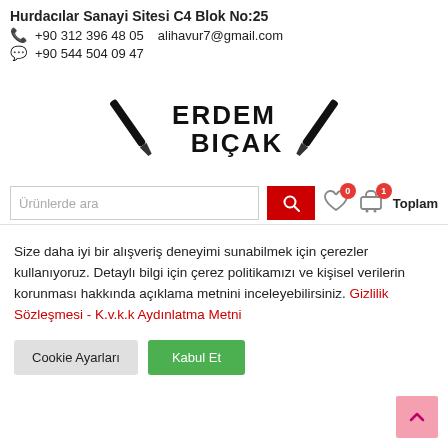Hurdacılar Sanayi Sitesi C4 Blok No:25
📞 +90 312 396 48 05  alihavur7@gmail.com
💬 +90 544 504 09 47
[Figure (logo): Erdem Bıçak logo with two crossed knives and bold text]
Size daha iyi bir alışveriş deneyimi sunabilmek için çerezler kullanıyoruz. Detaylı bilgi için çerez politikamızı ve kişisel verilerin korunması hakkında açıklama metnini inceleyebilirsiniz. Gizlilik Sözleşmesi - K.v.k.k Aydınlatma Metni
Cookie Ayarları
Kabul Et